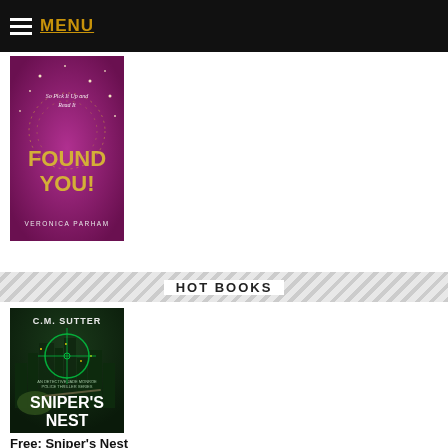MENU
[Figure (illustration): Book cover: Found You! by Veronica Parham. Purple/pink background with sparkles and circular dot pattern. Text reads 'So Pick It Up and Read It', 'FOUND YOU!' in gold letters, 'VERONICA PARHAM' at bottom.]
HOT BOOKS
[Figure (illustration): Book cover: Sniper's Nest by C.M. Sutter. Dark green cityscape background with sniper crosshair. Man aiming rifle in foreground. Text reads 'C.M. SUTTER' at top, 'AN DETECTIVE JADE MONROE POLICE THRILLER SERIES' in middle, 'SNIPER'S NEST' in large white letters at bottom.]
Free: Sniper's Nest